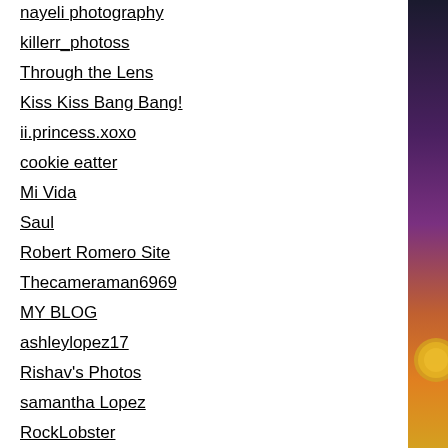nayeli photography
killerr_photoss
Through the Lens
Kiss Kiss Bang Bang!
ii.princess.xoxo
cookie eatter
Mi Vida
Saul
Robert Romero Site
Thecameraman6969
MY BLOG
ashleylopez17
Rishav's Photos
samantha Lopez
RockLobster
bri bri
Mind Of Her Own